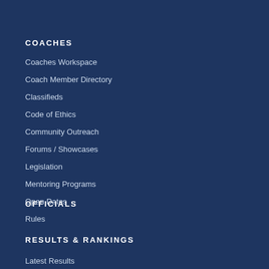COACHES
Coaches Workspace
Coach Member Directory
Classifieds
Code of Ethics
Community Outreach
Forums / Showcases
Legislation
Mentoring Programs
Open Dates
Rules
OFFICIALS
RESULTS & RANKINGS
Latest Results